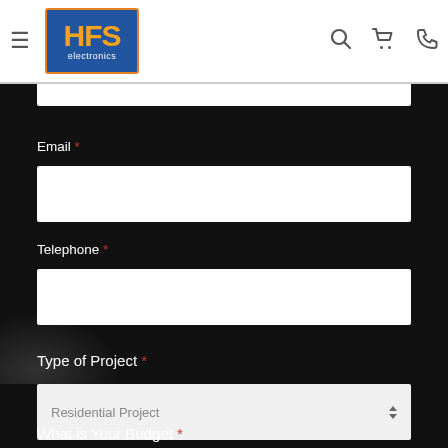[Figure (logo): HFS Electronics logo - blue square with orange H, yellow F, white S letters and 'electronics' text below]
Email *
Telephone *
Type of Project *
What is Your Budget *